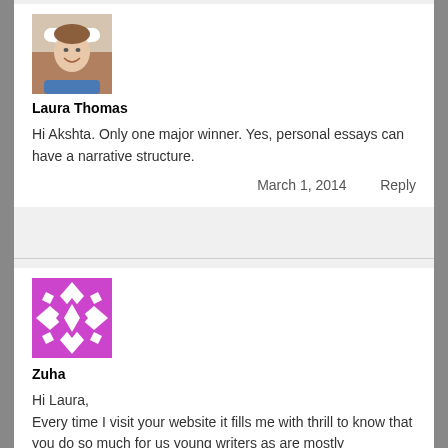[Figure (photo): Avatar photo of Laura Thomas, a woman wearing a white baseball cap, smiling, blue top, selfie style]
Laura Thomas
Hi Akshta. Only one major winner. Yes, personal essays can have a narrative structure.
March 1, 2014   Reply
[Figure (illustration): Purple geometric Gravatar placeholder icon with diamond/floral pattern]
Zuha
Hi Laura,
Every time I visit your website it fills me with thrill to know that you do so much for us young writers as are mostly inexperienced and are unaware of how to improve our writing or self publish.
I really want to enter this contest but unfortunately the paperback of Pulling it to publish in Pakistan. Could the column the name...